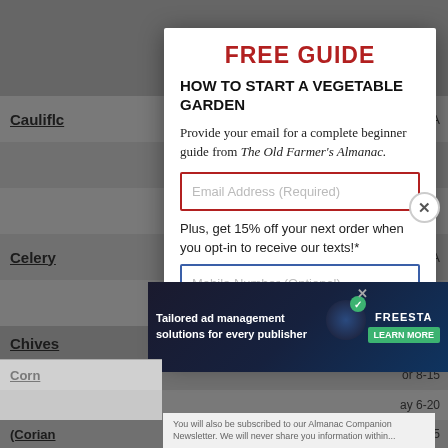| Vegetable |  | Info |
| --- | --- | --- |
| Cauliflower |  | N/A |
| Celery |  | N/A |
| Chives |  | or 8-15 |
| Chives |  | or 8-15 |
| Cilantro (Coriander) |  | ay 6-20 |
| Cilantro (Coriander) |  | ay 6-15 |
| Corn |  | lay 20- |
| Corn |  |  |
FREE GUIDE
HOW TO START A VEGETABLE GARDEN
Provide your email for a complete beginner guide from The Old Farmer's Almanac.
Plus, get 15% off your next order when you opt-in to receive our texts!*
[Figure (other): Advertisement banner: Tailored ad management solutions for every publisher — FREESTA brand with Learn More button]
You will also be subscribed to our Almanac Companion Newsletter. We will never share you information within...